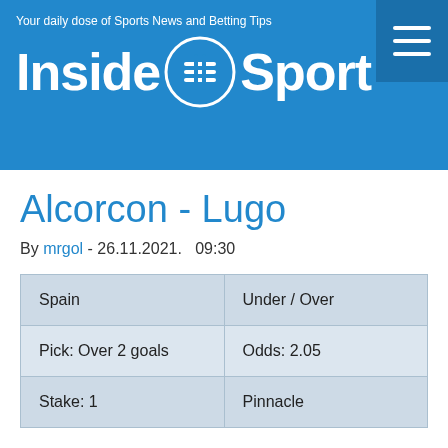Your daily dose of Sports News and Betting Tips
[Figure (logo): InsideSport logo with circular icon containing stylized 'S' letters, white text on blue background]
Alcorcon - Lugo
By mrgol - 26.11.2021.  09:30
| Spain | Under / Over |
| Pick: Over 2 goals | Odds: 2.05 |
| Stake: 1 | Pinnacle |